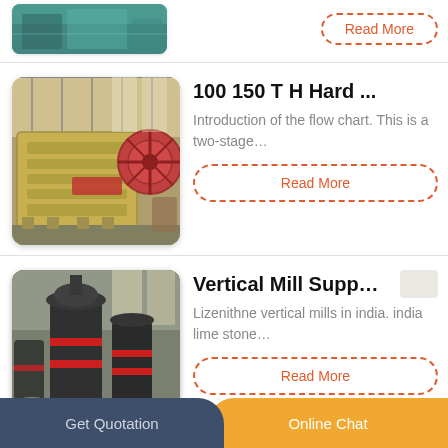[Figure (photo): Partial view of industrial machinery in a factory setting, teal/green tones]
Read More
[Figure (photo): Large yellow jaw crusher machine in an industrial factory]
100 150 T H Hard ...
Introduction of the flow chart. This is a two-stage…
Read More
[Figure (photo): Large vertical mill / grinding machines in dark gray with red bands in a warehouse]
Vertical Mill Supp…
Lizenithne vertical mills in india. india lime stone…
Read More
Get Quotation   Online Chat